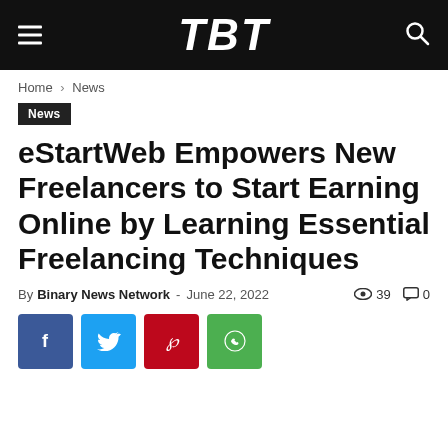TBT
Home › News
News
eStartWeb Empowers New Freelancers to Start Earning Online by Learning Essential Freelancing Techniques
By Binary News Network - June 22, 2022  👁 39  💬 0
[Figure (other): Social share buttons: Facebook, Twitter, Pinterest, WhatsApp]